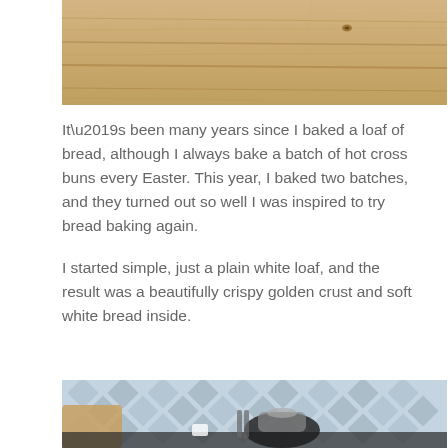[Figure (photo): Close-up of a wooden surface with natural wood grain texture, light tan/blonde color with visible grain lines and a small dark knot.]
It’s been many years since I baked a loaf of bread, although I always bake a batch of hot cross buns every Easter. This year, I baked two batches, and they turned out so well I was inspired to try bread baking again.
I started simple, just a plain white loaf, and the result was a beautifully crispy golden crust and soft white bread inside.
[Figure (photo): Kitchen scene showing a countertop with a diamond-patterned blue/grey tile backsplash, a kettle, kitchen utensils, and what appears to be a wooden item in the foreground.]